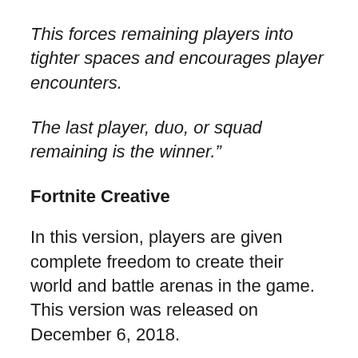This forces remaining players into tighter spaces and encourages player encounters.
The last player, duo, or squad remaining is the winner."
Fortnite Creative
In this version, players are given complete freedom to create their world and battle arenas in the game. This version was released on December 6, 2018.